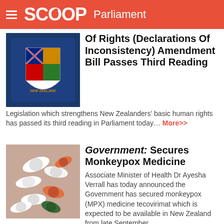SCOOP Parliament
Of Rights (Declarations Of Inconsistency) Amendment Bill Passes Third Reading
Legislation which strengthens New Zealanders' basic human rights has passed its third reading in Parliament today... More>>
Government: Secures Monkeypox Medicine
Associate Minister of Health Dr Ayesha Verrall has today announced the Government has secured monkeypox (MPX) medicine tecovirimat which is expected to be available in New Zealand from late September... More>>
Te Pati Maori: Welcome New Māori Speaker Of Parliament
Te Pāti Māori co-leaders Debbie Ngarewa-